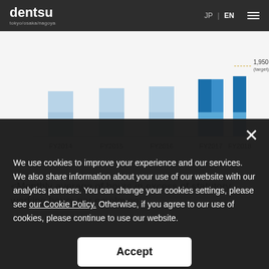dentsu tokyo/osaka/nagoya | JP | EN
[Figure (stacked-bar-chart): Partial stacked bar chart showing data for FY2014 through FY2018, with a target annotation of 1,950 (target). Bars use light blue and dark blue colors. X-axis labels: FY2014, FY2015, FY2016, FY2017, FY2018.]
<Monthly average of hours in excess of statutory working hours per employee>
We use cookies to improve your experience and our services. We also share information about your use of our website with our analytics partners. You can change your cookies settings, please see our Cookie Policy. Otherwise, if you agree to our use of cookies, please continue to use our website.